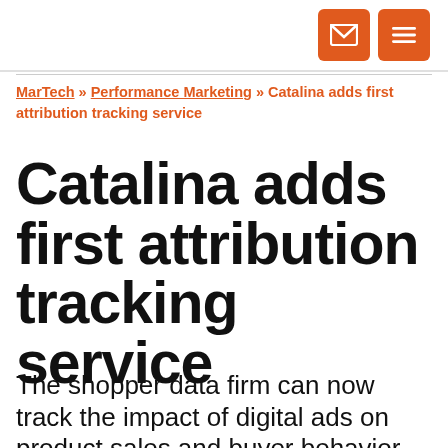[email icon] [menu icon]
MarTech » Performance Marketing » Catalina adds first attribution tracking service
Catalina adds first attribution tracking service
The shopper data firm can now track the impact of digital ads on product sales and buyer behavior, down to UPC barcodes